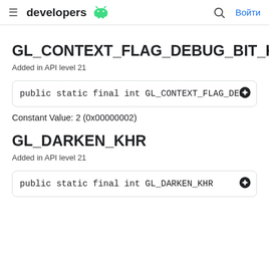developers [android logo] | [search] Войти
GL_CONTEXT_FLAG_DEBUG_BIT_KHR
Added in API level 21
public static final int GL_CONTEXT_FLAG_DEBUG_BIT_KHR
Constant Value: 2 (0x00000002)
GL_DARKEN_KHR
Added in API level 21
public static final int GL_DARKEN_KHR